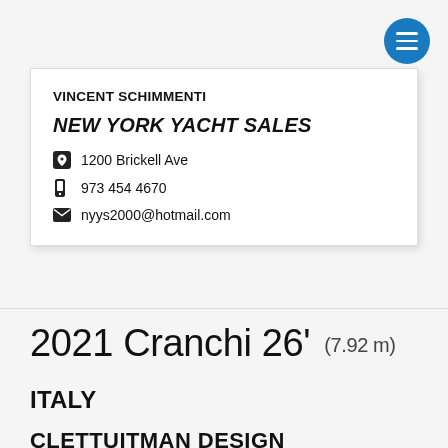[Figure (other): Circular blue menu/hamburger button in top right corner]
VINCENT SCHIMMENTI
NEW YORK YACHT SALES
1200 Brickell Ave
973 454 4670
nyys2000@hotmail.com
2021 Cranchi 26' (7.92 m)
ITALY
CLETTUITMAN DESIGN